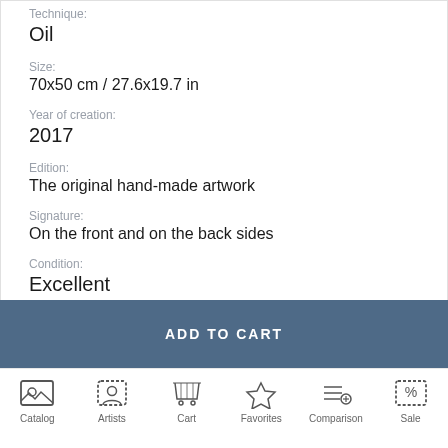Technique:
Oil
Size:
70x50 cm / 27.6x19.7 in
Year of creation:
2017
Edition:
The original hand-made artwork
Signature:
On the front and on the back sides
Condition:
Excellent
Frame:
ADD TO CART
Catalog  Artists  Cart  Favorites  Comparison  Sale